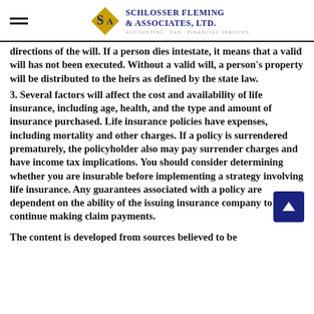Schlosser Fleming & Associates, Ltd. — Accounting · Tax · Financial Services
directions of the will. If a person dies intestate, it means that a valid will has not been executed. Without a valid will, a person's property will be distributed to the heirs as defined by the state law.
3. Several factors will affect the cost and availability of life insurance, including age, health, and the type and amount of insurance purchased. Life insurance policies have expenses, including mortality and other charges. If a policy is surrendered prematurely, the policyholder also may pay surrender charges and have income tax implications. You should consider determining whether you are insurable before implementing a strategy involving life insurance. Any guarantees associated with a policy are dependent on the ability of the issuing insurance company to continue making claim payments.
The content is developed from sources believed to be